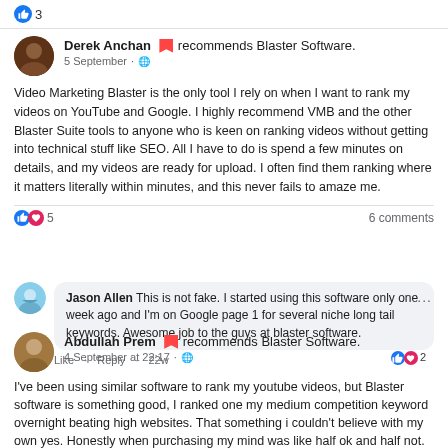👍 3
Derek Anchan recommends Blaster Software.
5 September · 🌐
Video Marketing Blaster is the only tool I rely on when I want to rank my videos on YouTube and Google. I highly recommend VMB and the other Blaster Suite tools to anyone who is keen on ranking videos without getting into technical stuff like SEO. All I have to do is spend a few minutes on details, and my videos are ready for upload. I often find them ranking where it matters literally within minutes, and this never fails to amaze me.
👍❤️ 5   6 comments
Jason Allen This is not fake. I started using this software only one week ago and I'm on Google page 1 for several niche long tail keywords. Awesome job to the guys at blaster software.
Like · Reply · 22w   👍❤️ 2
Abdullah Prem recommends Blaster Software.
4 September at 22:17 · 🌐
I've been using similar software to rank my youtube videos, but Blaster software is something good, I ranked one my medium competition keyword overnight beating high websites. That something i couldn't believe with my own yes. Honestly when purchasing my mind was like half ok and half not. But after getting used to it, i learnt many things and now i am ranking lot of keywords on Youtube. Don't think twice go ahead and this...